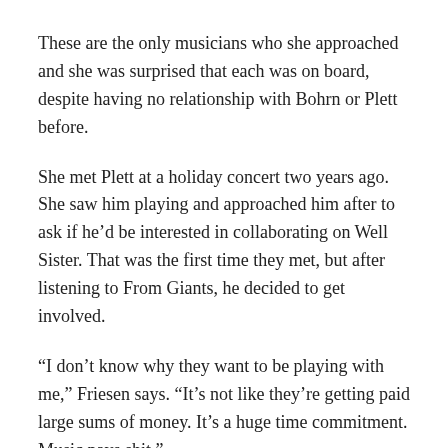These are the only musicians who she approached and she was surprised that each was on board, despite having no relationship with Bohrn or Plett before.
She met Plett at a holiday concert two years ago. She saw him playing and approached him after to ask if he'd be interested in collaborating on Well Sister. That was the first time they met, but after listening to From Giants, he decided to get involved.
“I don’t know why they want to be playing with me,” Friesen says. “It’s not like they’re getting paid large sums of money. It’s a huge time commitment. Music pays shit.”
Despite not knowing why these musicians are so dedicated to working on her music, Friesen is honoured that they’re making the time commitment to Well Sister. She also feels lucky that they are all good musicians and good people.
“It’s really important that I actually like the person. For me,